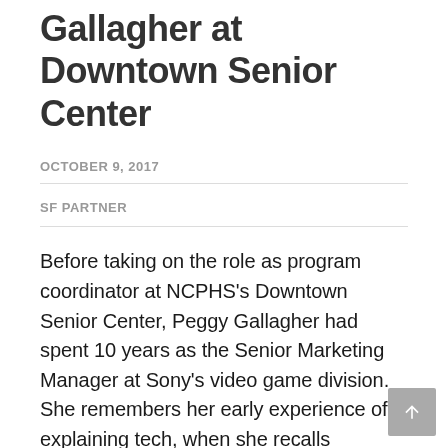Gallagher at Downtown Senior Center
OCTOBER 9, 2017
SF PARTNER
Before taking on the role as program coordinator at NCPHS’s Downtown Senior Center, Peggy Gallagher had spent 10 years as the Senior Marketing Manager at Sony’s video game division. She remembers her early experience of explaining tech, when she recalls describing how the new Sony Playstation was “just like Nintendo!.”